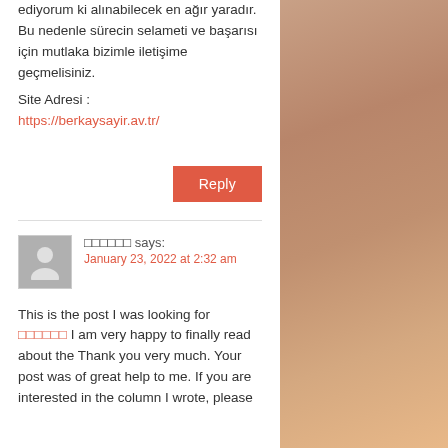ediyorum ki alınabilecek en ağır yaradır. Bu nedenle sürecin selameti ve başarısı için mutlaka bizimle iletişime geçmelisiniz.
Site Adresi :
https://berkaysayir.av.tr/
Reply
🔲🔲🔲🔲🔲🔲 says:
January 23, 2022 at 2:32 am
This is the post I was looking for 🔲🔲🔲🔲🔲🔲 I am very happy to finally read about the Thank you very much. Your post was of great help to me. If you are interested in the column I wrote, please